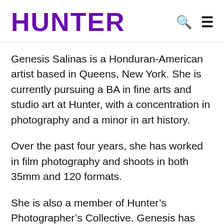HUNTER
Genesis Salinas is a Honduran-American artist based in Queens, New York. She is currently pursuing a BA in fine arts and studio art at Hunter, with a concentration in photography and a minor in art history.
Over the past four years, she has worked in film photography and shoots in both 35mm and 120 formats.
She is also a member of Hunter's Photographer's Collective. Genesis has interned at the Summer Arts Institute as a teacher's assistant, as she is